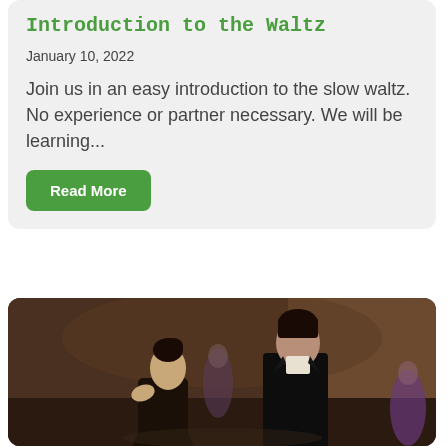Introduction to the Waltz
January 10, 2022
Join us in an easy introduction to the slow waltz. No experience or partner necessary. We will be learning...
Read More
[Figure (photo): A couple dancing ballroom style, woman with dark hair up and man in black suit facing each other on a dance floor, other people visible in background]